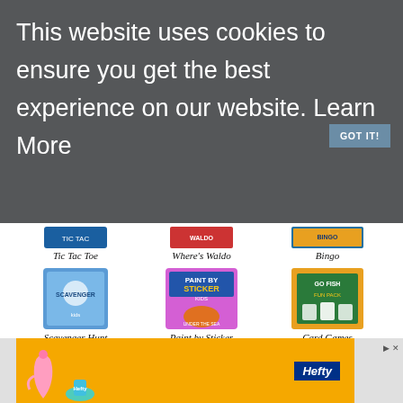This website uses cookies to ensure you get the best experience on our website. Learn More
[Figure (screenshot): GOT IT! button in blue-grey]
[Figure (screenshot): Product grid showing children's books and games: Tic Tac Toe, Where's Waldo, Bingo, Scavenger Hunt, Paint by Sticker, Card Games, Mad Libs, Travel Art Kit, Brain Quest]
[Figure (screenshot): Advertisement banner for Hefty brand on orange background]